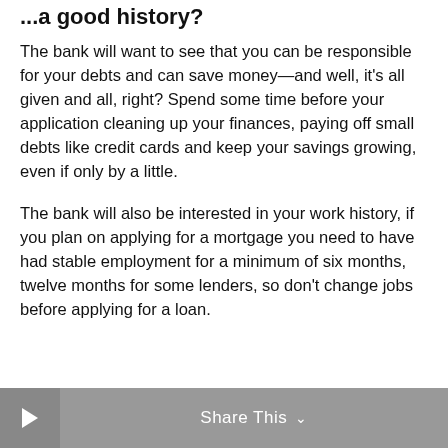...a good history?
The bank will want to see that you can be responsible for your debts and can save money—and well, it's all given and all, right? Spend some time before your application cleaning up your finances, paying off small debts like credit cards and keep your savings growing, even if only by a little.
The bank will also be interested in your work history, if you plan on applying for a mortgage you need to have had stable employment for a minimum of six months, twelve months for some lenders, so don't change jobs before applying for a loan.
Share This